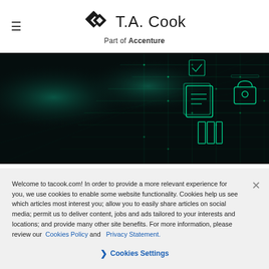T.A. Cook – Part of Accenture
[Figure (photo): Dark teal/green technology background with glowing circuit board patterns and digital document/security icons]
Welcome to tacook.com! In order to provide a more relevant experience for you, we use cookies to enable some website functionality. Cookies help us see which articles most interest you; allow you to easily share articles on social media; permit us to deliver content, jobs and ads tailored to your interests and locations; and provide many other site benefits. For more information, please review our Cookies Policy and Privacy Statement.
❯ Cookies Settings